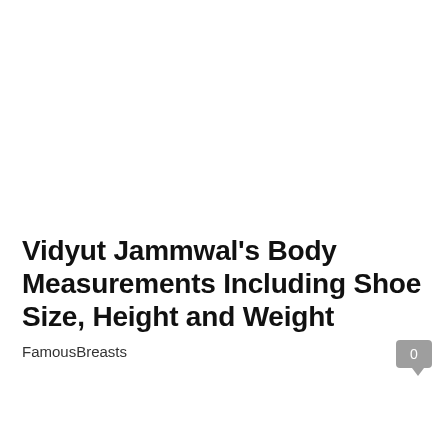Vidyut Jammwal's Body Measurements Including Shoe Size, Height and Weight
FamousBreasts